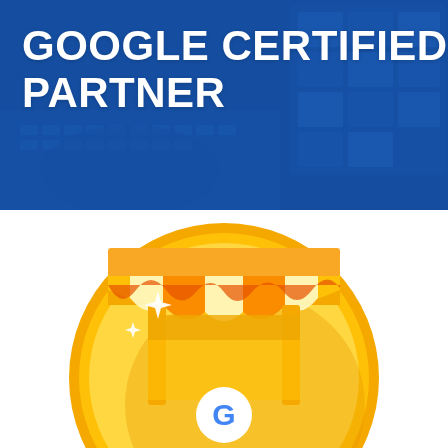[Figure (photo): Blue-tinted banner background showing hands typing on a laptop keyboard with a screen visible, overlaid with a dark blue tint]
GOOGLE CERTIFIED PARTNER
[Figure (illustration): Google My Business gold coin badge icon showing a storefront awning with orange and white stripes, a G logo at the bottom, sparkle stars, and a golden circular coin border, cropped at the bottom of the page]